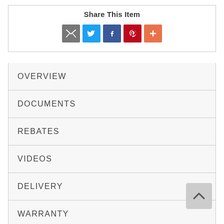Share This Item
[Figure (infographic): Row of social sharing icon buttons: email (gray), Twitter (blue), Facebook (dark blue), Pinterest (red), More/plus (orange)]
OVERVIEW
DOCUMENTS
REBATES
VIDEOS
DELIVERY
WARRANTY
REVIEWS (2)